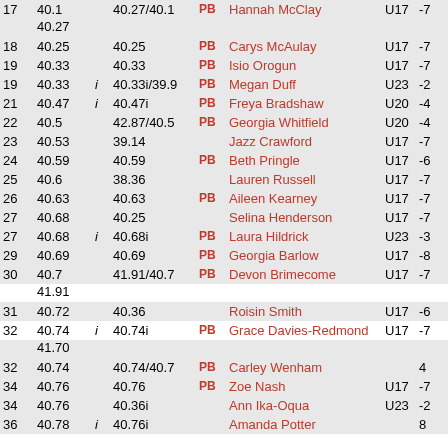| Rank | Perf | i | Best | PB | Name | Cat | Wind | Club |
| --- | --- | --- | --- | --- | --- | --- | --- | --- |
| 17 | 40.1 |  | 40.27/40.1 | PB | Hannah McClay | U17 | -7 |  |
|  | 40.27 |  |  |  |  |  |  |  |
| 18 | 40.25 |  | 40.25 | PB | Carys McAulay | U17 | -7 |  |
| 19 | 40.33 |  | 40.33 | PB | Isio Orogun | U17 | -7 | Al |
| 19 | 40.33 | i | 40.33i/39.9 | PB | Megan Duff | U23 | -2 | Da |
| 21 | 40.47 | i | 40.47i | PB | Freya Bradshaw | U20 | -4 | Da |
| 22 | 40.5 |  | 42.87/40.5 | PB | Georgia Whitfield | U20 | -4 | Ma |
| 23 | 40.53 |  | 39.14 |  | Jazz Crawford | U17 | -7 | Jo |
| 24 | 40.59 |  | 40.59 | PB | Beth Pringle | U17 | -6 | Ja |
| 25 | 40.6 |  | 38.36 |  | Lauren Russell | U17 | -7 | Co |
| 26 | 40.63 |  | 40.63 | PB | Aileen Kearney | U17 | -7 | No |
| 27 | 40.68 |  | 40.25 |  | Selina Henderson | U17 | -7 |  |
| 27 | 40.68 | i | 40.68i | PB | Laura Hildrick | U23 | -3 | Mi |
| 29 | 40.69 |  | 40.69 | PB | Georgia Barlow | U17 | -8 | Da |
| 30 | 40.7 |  | 41.91/40.7 | PB | Devon Brimecome | U17 | -7 | Ar |
|  | 41.91 |  |  |  |  |  |  |  |
| 31 | 40.72 |  | 40.36 |  | Roisin Smith | U17 | -6 |  |
| 32 | 40.74 | i | 40.74i | PB | Grace Davies-Redmond | U17 | -7 | Ke |
|  | 41.70 |  |  |  |  |  |  |  |
| 32 | 40.74 |  | 40.74/40.7 | PB | Carley Wenham |  | 4 |  |
| 34 | 40.76 |  | 40.76 | PB | Zoe Nash | U17 | -7 | Ja |
| 34 | 40.76 |  | 40.36i |  | Ann Ika-Oqua | U23 | -2 |  |
| 36 | 40.78 | i | 40.76i |  | Amanda Potter |  | 8 |  |